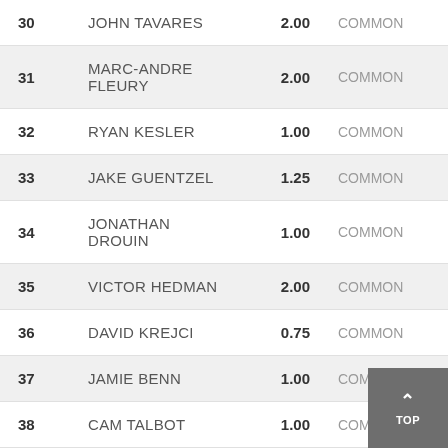| # | Name | Value | Type |
| --- | --- | --- | --- |
| 30 | JOHN TAVARES | 2.00 | COMMON |
| 31 | MARC-ANDRE FLEURY | 2.00 | COMMON |
| 32 | RYAN KESLER | 1.00 | COMMON |
| 33 | JAKE GUENTZEL | 1.25 | COMMON |
| 34 | JONATHAN DROUIN | 1.00 | COMMON |
| 35 | VICTOR HEDMAN | 2.00 | COMMON |
| 36 | DAVID KREJCI | 0.75 | COMMON |
| 37 | JAMIE BENN | 1.00 | COMMON |
| 38 | CAM TALBOT | 1.00 | COMMON |
| 39 | BRANDON SAAD | 1.00 | COMMON |